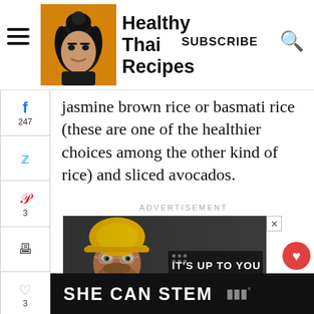Healthy Thai Recipes — SUBSCRIBE
jasmine brown rice or basmati rice (these are one of the healthier choices among the other kind of rice) and sliced avocados.
ADVERTISEMENT
[Figure (photo): COVID-19 vaccination advertisement showing a bearded man in a hard hat with text 'IT'S UP TO YOU COVID-19 VACCINATION']
Why should I get vaccinated? Getting immunized against COVID-19 will protect most people from getting sick or becoming seriously ill.
WHAT'S NEXT → Strawberry Peach Shrim...
250 SHARES
SHE CAN STEM